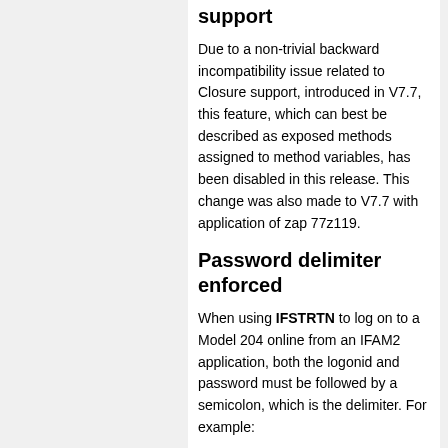support
Due to a non-trivial backward incompatibility issue related to Closure support, introduced in V7.7, this feature, which can best be described as exposed methods assigned to method variables, has been disabled in this release. This change was also made to V7.7 with application of zap 77z119.
Password delimiter enforced
When using IFSTRTN to log on to a Model 204 online from an IFAM2 application, both the logonid and password must be followed by a semicolon, which is the delimiter. For example: